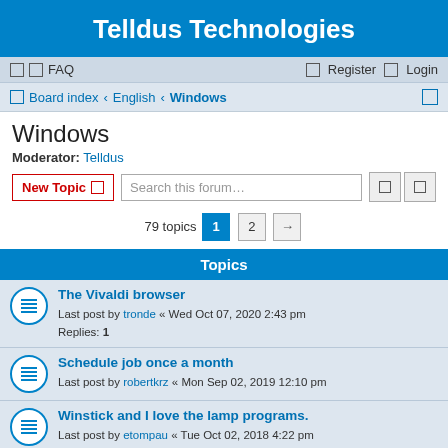Telldus Technologies
FAQ  Register  Login
Board index › English › Windows
Windows
Moderator: Telldus
New Topic  Search this forum…
79 topics  1  2  →
Topics
The Vivaldi browser
Last post by tronde « Wed Oct 07, 2020 2:43 pm
Replies: 1
Schedule job once a month
Last post by robertkrz « Mon Sep 02, 2019 12:10 pm
Winstick and I love the lamp programs.
Last post by etompau « Tue Oct 02, 2018 4:22 pm
Replies: 1
EventGhost plugin: TellStick Duo
Last post by Sergio « Wed Feb 28, 2018 10:18 pm
Replies: 6